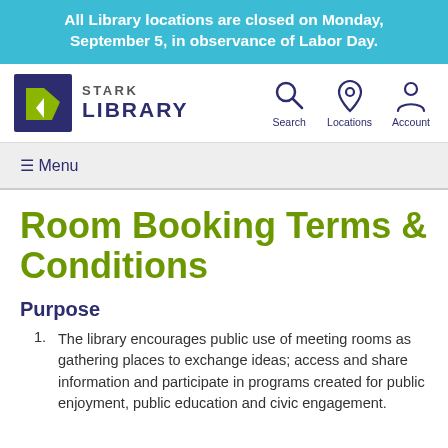All Library locations are closed on Monday, September 5, in observance of Labor Day.
[Figure (logo): Stark Library logo: purple and green angular book shape with text STARK LIBRARY]
[Figure (infographic): Navigation icons: Search (magnifying glass), Locations (map pin), Account (person silhouette)]
≡ Menu
Room Booking Terms & Conditions
Purpose
The library encourages public use of meeting rooms as gathering places to exchange ideas; access and share information and participate in programs created for public enjoyment, public education and civic engagement.